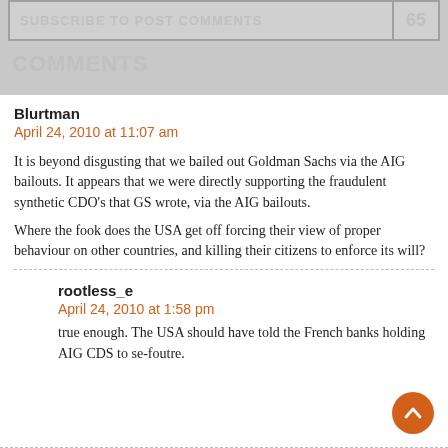SUBSCRIBE TO POST COMMENTS
65
COMMENTS
Blurtman
April 24, 2010 at 11:07 am
It is beyond disgusting that we bailed out Goldman Sachs via the AIG bailouts. It appears that we were directly supporting the fraudulent synthetic CDO's that GS wrote, via the AIG bailouts.
Where the fook does the USA get off forcing their view of proper behaviour on other countries, and killing their citizens to enforce its will?
rootless_e
April 24, 2010 at 1:58 pm
true enough. The USA should have told the French banks holding AIG CDS to se-foutre.